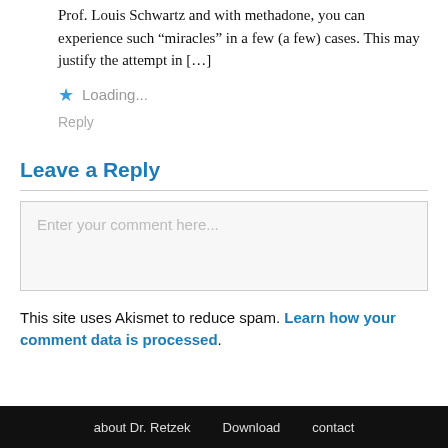Prof. Louis Schwartz and with methadone, you can experience such “miracles” in a few (a few) cases. This may justify the attempt in […]
★ Loading...
Reply
Leave a Reply
Enter your comment here...
This site uses Akismet to reduce spam. Learn how your comment data is processed.
about Dr. Retzek   Download   contact